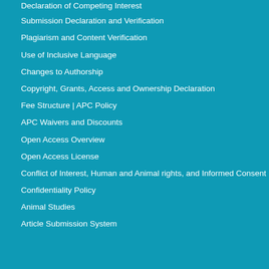Declaration of Competing Interest
Submission Declaration and Verification
Plagiarism and Content Verification
Use of Inclusive Language
Changes to Authorship
Copyright, Grants, Access and Ownership Declaration
Fee Structure | APC Policy
APC Waivers and Discounts
Open Access Overview
Open Access License
Conflict of Interest, Human and Animal rights, and Informed Consent
Confidentiality Policy
Animal Studies
Article Submission System